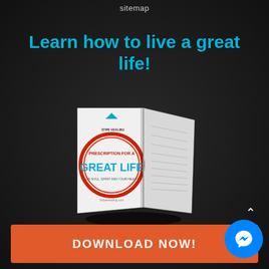sitemap
Learn how to live a great life!
[Figure (illustration): A 3D rendered booklet/pamphlet showing a cover that reads 'PRESCRIPTION FOR A GREAT LIFE' with a red circle logo, displayed open on a dark background with shadow]
DOWNLOAD NOW!